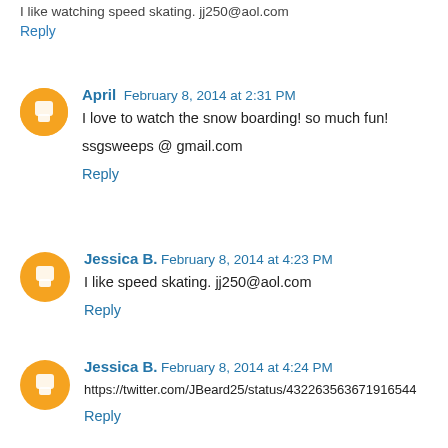I like watching speed skating. jj250@aol.com
Reply
April  February 8, 2014 at 2:31 PM
I love to watch the snow boarding! so much fun!

ssgsweeps @ gmail.com
Reply
Jessica B.  February 8, 2014 at 4:23 PM
I like speed skating. jj250@aol.com
Reply
Jessica B.  February 8, 2014 at 4:24 PM
https://twitter.com/JBeard25/status/432263563671916544
Reply